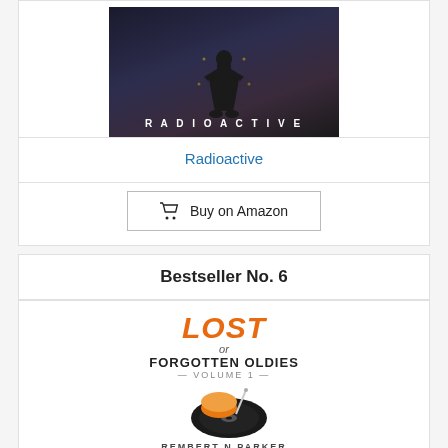[Figure (photo): Book cover for 'Radioactive' — dark background with silhouette figure, text RADIOACTIVE in white letters]
Radioactive
Buy on Amazon
Bestseller No. 6
[Figure (photo): Book cover for 'Lost or Forgotten Oldies Volume 1' with orange LOST text, vinyl record, author Rembert N Parker]